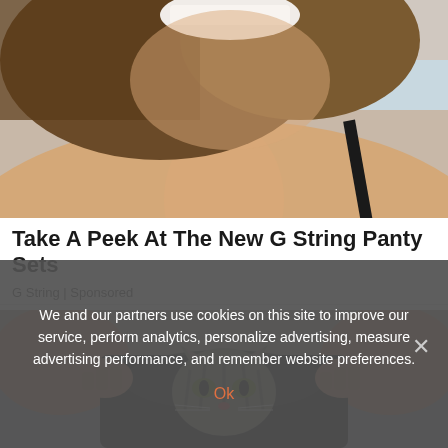[Figure (photo): Close-up of a laughing woman with brown hair and a black strap top, cropped to show lower face, neck and shoulder area]
Take A Peek At The New G String Panty Sets
G String | Sponsored
[Figure (photo): Person sitting on toilet holding open black garment with a tabby cat peeking out from inside it]
We and our partners use cookies on this site to improve our service, perform analytics, personalize advertising, measure advertising performance, and remember website preferences.
Ok